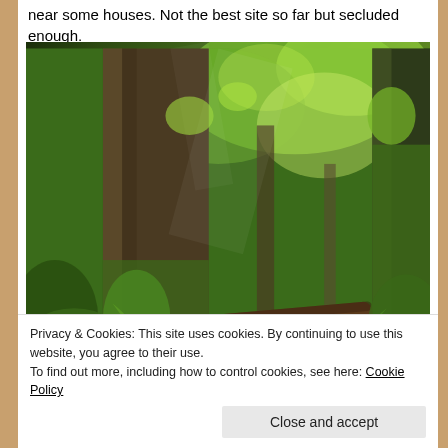near some houses. Not the best site so far but secluded enough.
[Figure (photo): Dense green forest scene with large moss-covered tree trunks, undergrowth of green plants and ferns, sunlight filtering through the forest canopy.]
Privacy & Cookies: This site uses cookies. By continuing to use this website, you agree to their use.
To find out more, including how to control cookies, see here: Cookie Policy
Close and accept